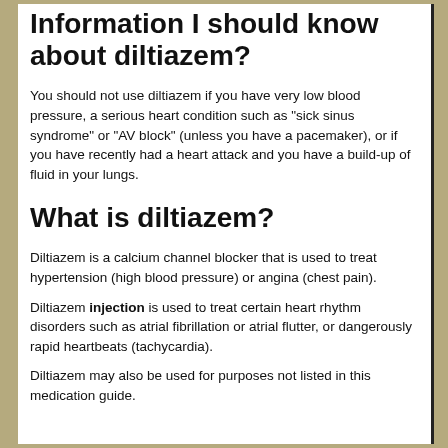Information I should know about diltiazem?
You should not use diltiazem if you have very low blood pressure, a serious heart condition such as "sick sinus syndrome" or "AV block" (unless you have a pacemaker), or if you have recently had a heart attack and you have a build-up of fluid in your lungs.
What is diltiazem?
Diltiazem is a calcium channel blocker that is used to treat hypertension (high blood pressure) or angina (chest pain).
Diltiazem injection is used to treat certain heart rhythm disorders such as atrial fibrillation or atrial flutter, or dangerously rapid heartbeats (tachycardia).
Diltiazem may also be used for purposes not listed in this medication guide.